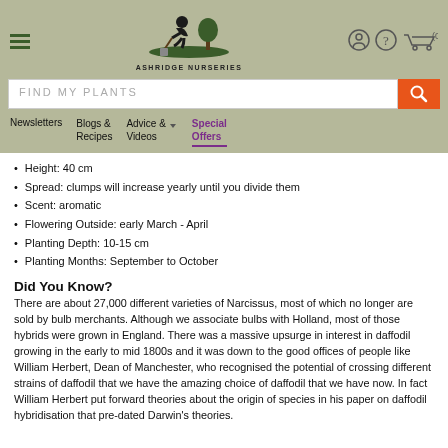Ashridge Nurseries — navigation header with logo, search bar, and menu: Newsletters, Blogs & Recipes, Advice & Videos, Special Offers
Height: 40 cm
Spread: clumps will increase yearly until you divide them
Scent: aromatic
Flowering Outside: early March - April
Planting Depth: 10-15 cm
Planting Months: September to October
Did You Know?
There are about 27,000 different varieties of Narcissus, most of which no longer are sold by bulb merchants. Although we associate bulbs with Holland, most of those hybrids were grown in England. There was a massive upsurge in interest in daffodil growing in the early to mid 1800s and it was down to the good offices of people like William Herbert, Dean of Manchester, who recognised the potential of crossing different strains of daffodil that we have the amazing choice of daffodil that we have now. In fact William Herbert put forward theories about the origin of species in his paper on daffodil hybridisation that pre-dated Darwin's theories.